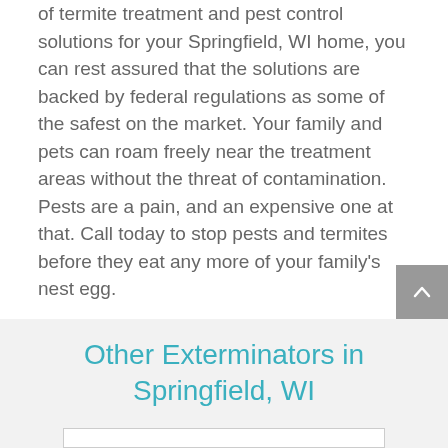of termite treatment and pest control solutions for your Springfield, WI home, you can rest assured that the solutions are backed by federal regulations as some of the safest on the market. Your family and pets can roam freely near the treatment areas without the threat of contamination. Pests are a pain, and an expensive one at that. Call today to stop pests and termites before they eat any more of your family's nest egg.
Other Exterminators in Springfield, WI